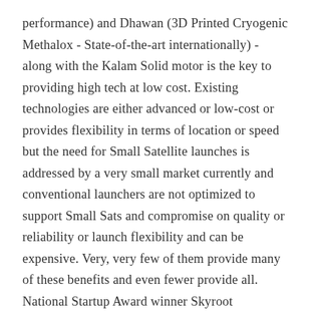performance) and Dhawan (3D Printed Cryogenic Methalox - State-of-the-art internationally) - along with the Kalam Solid motor is the key to providing high tech at low cost. Existing technologies are either advanced or low-cost or provides flexibility in terms of location or speed but the need for Small Satellite launches is addressed by a very small market currently and conventional launchers are not optimized to support Small Sats and compromise on quality or reliability or launch flexibility and can be expensive. Very, very few of them provide many of these benefits and even fewer provide all. National Startup Award winner Skyroot Aerospace's Vikram launch vehicle does this at the lowest price tag which is much below the market average launch cost. Being a private launcher also means democratized access to space opening